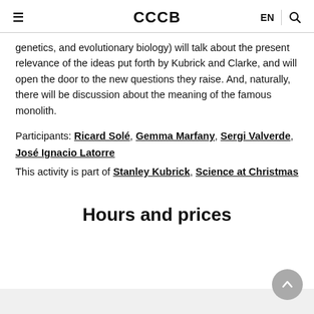≡  CCCB  EN  🔍
genetics, and evolutionary biology) will talk about the present relevance of the ideas put forth by Kubrick and Clarke, and will open the door to the new questions they raise. And, naturally, there will be discussion about the meaning of the famous monolith.
Participants: Ricard Solé, Gemma Marfany, Sergi Valverde, José Ignacio Latorre
This activity is part of Stanley Kubrick, Science at Christmas
Hours and prices